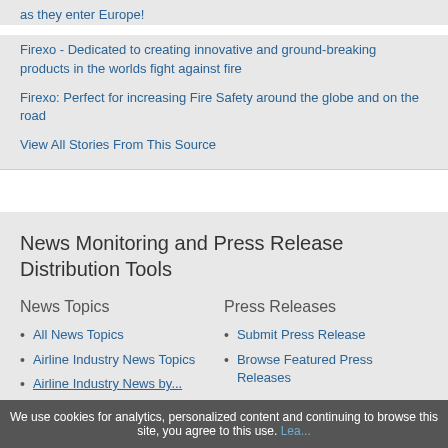as they enter Europe!
Firexo - Dedicated to creating innovative and ground-breaking products in the worlds fight against fire
Firexo: Perfect for increasing Fire Safety around the globe and on the road
View All Stories From This Source
News Monitoring and Press Release Distribution Tools
News Topics
Press Releases
All News Topics
Airline Industry News Topics
Airline Industry News by...
Submit Press Release
Browse Featured Press Releases
We use cookies for analytics, personalized content and continuing to browse this site, you agree to this use. Lea...